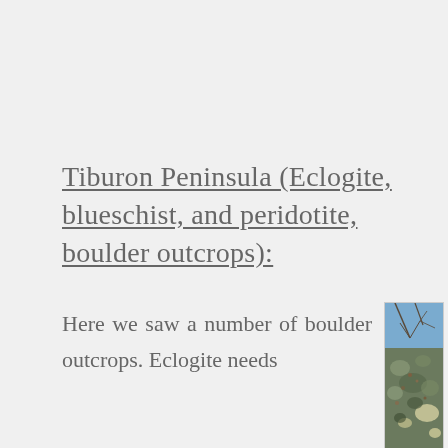Tiburon Peninsula (Eclogite, blueschist, and peridotite, boulder outcrops):
Here we saw a number of boulder outcrops. Eclogite needs
[Figure (photo): Close-up photograph of a boulder outcrop showing eclogite or blueschist rock with green and grey mottled surface and lichen patches, with bare tree branches and blue sky visible in the background.]